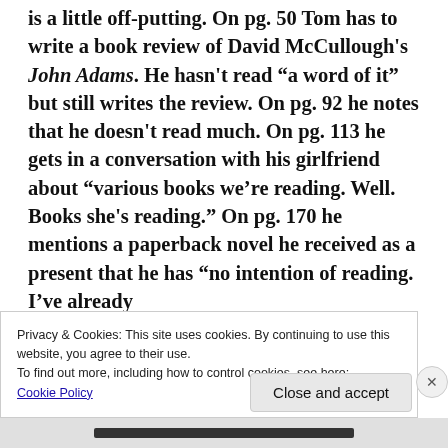is a little off-putting. On pg. 50 Tom has to write a book review of David McCullough's John Adams. He hasn't read "a word of it" but still writes the review. On pg. 92 he notes that he doesn't read much. On pg. 113 he gets in a conversation with his girlfriend about "various books we're reading. Well. Books she's reading." On pg. 170 he mentions a paperback novel he received as a present that he has "no intention of reading. I've already
Privacy & Cookies: This site uses cookies. By continuing to use this website, you agree to their use.
To find out more, including how to control cookies, see here:
Cookie Policy
Close and accept